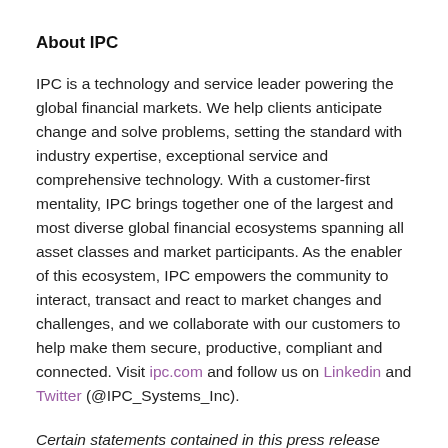About IPC
IPC is a technology and service leader powering the global financial markets. We help clients anticipate change and solve problems, setting the standard with industry expertise, exceptional service and comprehensive technology. With a customer-first mentality, IPC brings together one of the largest and most diverse global financial ecosystems spanning all asset classes and market participants. As the enabler of this ecosystem, IPC empowers the community to interact, transact and react to market changes and challenges, and we collaborate with our customers to help make them secure, productive, compliant and connected. Visit ipc.com and follow us on Linkedin and Twitter (@IPC_Systems_Inc).
Certain statements contained in this press release may be forward-looking statements. These statements may be